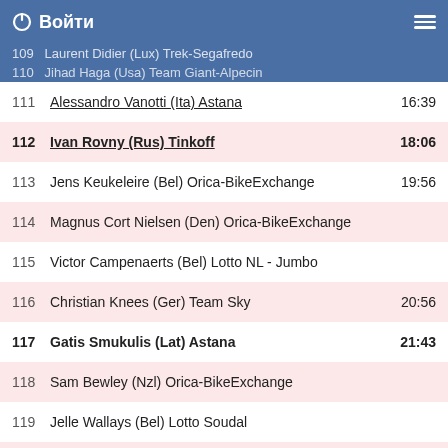Войти
109 Laurent Didier (Lux) Trek-Segafredo
110 Jihad Haga (Usa) Team Giant-Alpecin
111 Alessandro Vanotti (Ita) Astana  16:39
112 Ivan Rovny (Rus) Tinkoff  18:06
113 Jens Keukeleire (Bel) Orica-BikeExchange  19:56
114 Magnus Cort Nielsen (Den) Orica-BikeExchange
115 Victor Campenaerts (Bel) Lotto NL - Jumbo
116 Christian Knees (Ger) Team Sky  20:56
117 Gatis Smukulis (Lat) Astana  21:43
118 Sam Bewley (Nzl) Orica-BikeExchange
119 Jelle Wallays (Bel) Lotto Soudal
120 Imanol Erviti (Esp) Movistar
121 Mattia Cattaneo (Ita) Lampre-Merida
122 Rory Sutherland (Aus) Movistar
123 Philippe Gilbert (Bel) BMC
124 Gediminas Bagdonas (Ltu) AG2R
125 Salvatore Puccio (Ita) Team Sky
126 Adam Hansen (Aus) Lotto Soudal
127 Sven Erik Bystrøm (Nor) Team KATUSHA
128 Simon Gerrans (Aus) Orica-BikeExchange
129 Scott Thwaites (Gbr) Bora - Argon 18
130 Martijn Keizer (Ned) Lotto NL - Jumbo